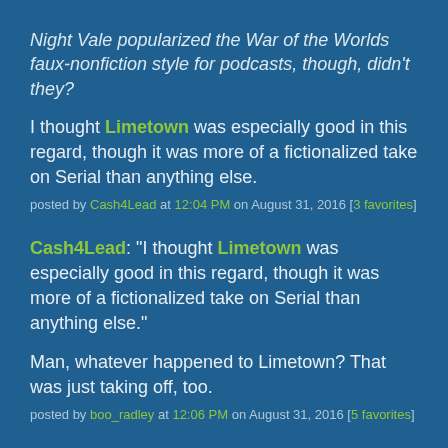Night Vale popularized the War of the Worlds faux-nonfiction style for podcasts, though, didn't they?
I thought Limetown was especially good in this regard, though it was more of a fictionalized take on Serial than anything else.
posted by Cash4Lead at 12:04 PM on August 31, 2016 [3 favorites]
Cash4Lead: "I thought Limetown was especially good in this regard, though it was more of a fictionalized take on Serial than anything else."
Man, whatever happened to Limetown? That was just taking off, too.
posted by boo_radley at 12:06 PM on August 31, 2016 [5 favorites]